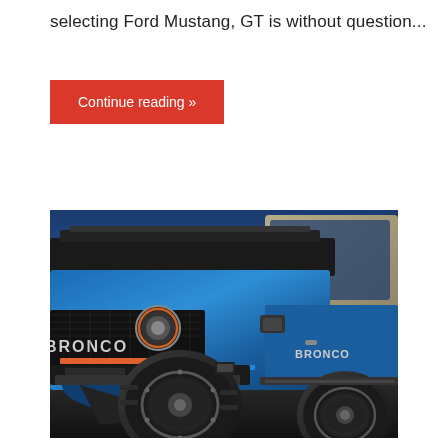selecting Ford Mustang, GT is without question...
Continue reading »
[Figure (photo): A close-up front/side view of a blue Ford Bronco with large off-road tires, visible BRONCO grille lettering, orange accent on front grille, beige roll cage frame, and BRONCO badge on the door. The vehicle is photographed against a blue sky background.]